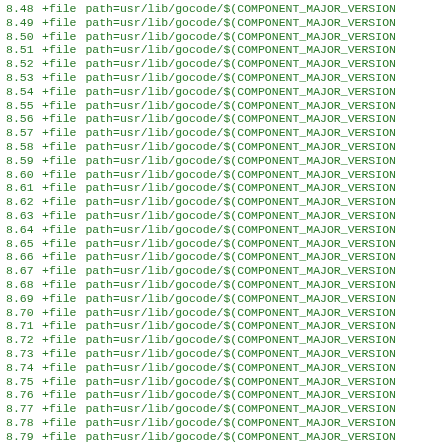8.48  +file path=usr/lib/gocode/$(COMPONENT_MAJOR_VERSION
8.49  +file path=usr/lib/gocode/$(COMPONENT_MAJOR_VERSION
8.50  +file path=usr/lib/gocode/$(COMPONENT_MAJOR_VERSION
8.51  +file path=usr/lib/gocode/$(COMPONENT_MAJOR_VERSION
8.52  +file path=usr/lib/gocode/$(COMPONENT_MAJOR_VERSION
8.53  +file path=usr/lib/gocode/$(COMPONENT_MAJOR_VERSION
8.54  +file path=usr/lib/gocode/$(COMPONENT_MAJOR_VERSION
8.55  +file path=usr/lib/gocode/$(COMPONENT_MAJOR_VERSION
8.56  +file path=usr/lib/gocode/$(COMPONENT_MAJOR_VERSION
8.57  +file path=usr/lib/gocode/$(COMPONENT_MAJOR_VERSION
8.58  +file path=usr/lib/gocode/$(COMPONENT_MAJOR_VERSION
8.59  +file path=usr/lib/gocode/$(COMPONENT_MAJOR_VERSION
8.60  +file path=usr/lib/gocode/$(COMPONENT_MAJOR_VERSION
8.61  +file path=usr/lib/gocode/$(COMPONENT_MAJOR_VERSION
8.62  +file path=usr/lib/gocode/$(COMPONENT_MAJOR_VERSION
8.63  +file path=usr/lib/gocode/$(COMPONENT_MAJOR_VERSION
8.64  +file path=usr/lib/gocode/$(COMPONENT_MAJOR_VERSION
8.65  +file path=usr/lib/gocode/$(COMPONENT_MAJOR_VERSION
8.66  +file path=usr/lib/gocode/$(COMPONENT_MAJOR_VERSION
8.67  +file path=usr/lib/gocode/$(COMPONENT_MAJOR_VERSION
8.68  +file path=usr/lib/gocode/$(COMPONENT_MAJOR_VERSION
8.69  +file path=usr/lib/gocode/$(COMPONENT_MAJOR_VERSION
8.70  +file path=usr/lib/gocode/$(COMPONENT_MAJOR_VERSION
8.71  +file path=usr/lib/gocode/$(COMPONENT_MAJOR_VERSION
8.72  +file path=usr/lib/gocode/$(COMPONENT_MAJOR_VERSION
8.73  +file path=usr/lib/gocode/$(COMPONENT_MAJOR_VERSION
8.74  +file path=usr/lib/gocode/$(COMPONENT_MAJOR_VERSION
8.75  +file path=usr/lib/gocode/$(COMPONENT_MAJOR_VERSION
8.76  +file path=usr/lib/gocode/$(COMPONENT_MAJOR_VERSION
8.77  +file path=usr/lib/gocode/$(COMPONENT_MAJOR_VERSION
8.78  +file path=usr/lib/gocode/$(COMPONENT_MAJOR_VERSION
8.79  +file path=usr/lib/gocode/$(COMPONENT_MAJOR_VERSION